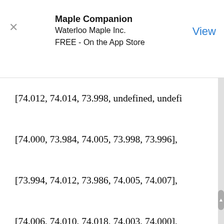Maple Companion
Waterloo Maple Inc.
FREE - On the App Store
View
[74.012, 74.014, 73.998, undefined, undefi
[74.000, 73.984, 74.005, 73.998, 73.996],
[73.994, 74.012, 73.986, 74.005, 74.007],
[74.006, 74.010, 74.018, 74.003, 74.000],
[73.984, 74.002, 74.003, 74.005, 73.997],
[74.000, 74.010, 74.013, undefined, undefi
[73.982, 74.001, 74.015, 74.005, 73.996],
[74.004, 73.999, 73.990, 74.006, 74.009],
[74.010, 73.989, 73.990, 74.009, 74.014],
[74.015, 74.008, 73.993, 74.000, 74.010],
[73.982, 73.984, 73.995, 74.017, 74.013]],